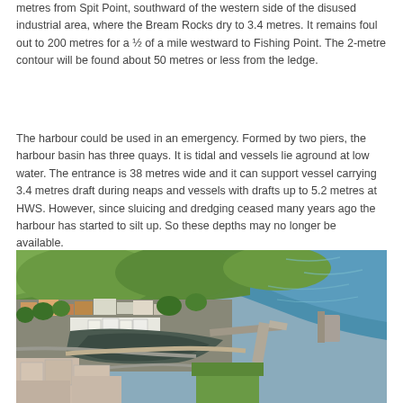metres from Spit Point, southward of the western side of the disused industrial area, where the Bream Rocks dry to 3.4 metres. It remains foul out to 200 metres for a ½ of a mile westward to Fishing Point. The 2-metre contour will be found about 50 metres or less from the ledge.
The harbour could be used in an emergency. Formed by two piers, the harbour basin has three quays. It is tidal and vessels lie aground at low water. The entrance is 38 metres wide and it can support vessel carrying 3.4 metres draft during neaps and vessels with drafts up to 5.2 metres at HWS. However, since sluicing and dredging ceased many years ago the harbour has started to silt up. So these depths may no longer be available.
[Figure (photo): Aerial photograph of a coastal harbour town showing a harbour with two piers, surrounding buildings, green hills, and blue sea water.]